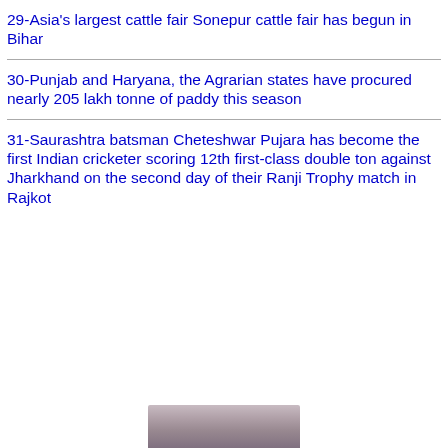29-Asia's largest cattle fair Sonepur cattle fair has begun in Bihar
30-Punjab and Haryana, the Agrarian states have procured nearly 205 lakh tonne of paddy this season
31-Saurashtra batsman Cheteshwar Pujara has become the first Indian cricketer scoring 12th first-class double ton against Jharkhand on the second day of their Ranji Trophy match in Rajkot
[Figure (photo): Partial photo visible at the bottom of the page, appears to show a person]